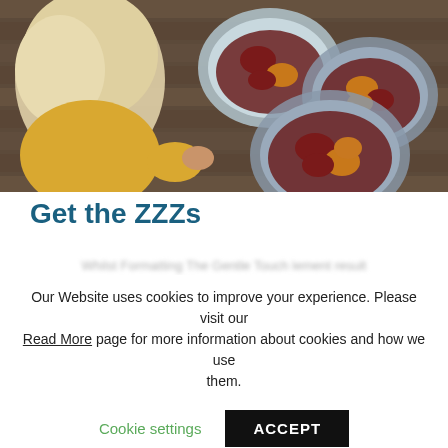[Figure (photo): A child with blonde hair wearing a yellow top looking down at three blue ceramic bowls containing plums or similar dark fruit on a wooden surface, viewed from above.]
Get the ZZZs
Our Website uses cookies to improve your experience. Please visit our Read More page for more information about cookies and how we use them.
Cookie settings   ACCEPT